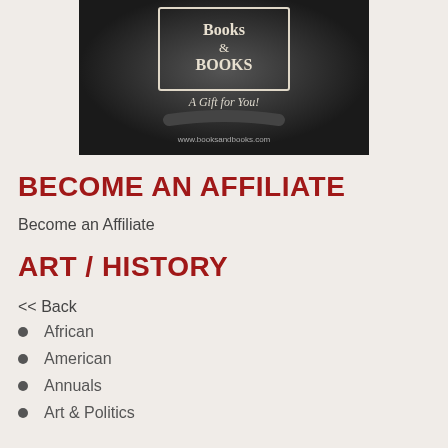[Figure (photo): Books & Books gift card image with text 'A Gift for You!' and website www.booksandbooks.com on a dark background]
BECOME AN AFFILIATE
Become an Affiliate
ART / HISTORY
<< Back
African
American
Annuals
Art & Politics